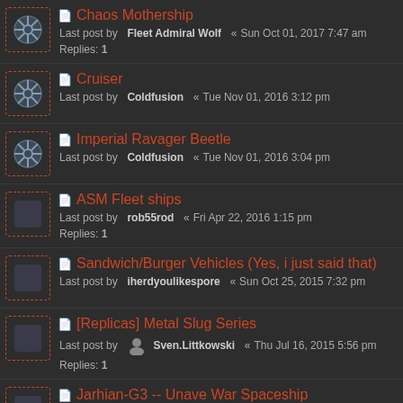Chaos Mothership — Last post by Fleet Admiral Wolf « Sun Oct 01, 2017 7:47 am — Replies: 1
Cruiser — Last post by Coldfusion « Tue Nov 01, 2016 3:12 pm
Imperial Ravager Beetle — Last post by Coldfusion « Tue Nov 01, 2016 3:04 pm
ASM Fleet ships — Last post by rob55rod « Fri Apr 22, 2016 1:15 pm — Replies: 1
Sandwich/Burger Vehicles (Yes, i just said that) — Last post by iherdyoulikespore « Sun Oct 25, 2015 7:32 pm
[Replicas] Metal Slug Series — Last post by Sven.Littkowski « Thu Jul 16, 2015 5:56 pm — Replies: 1
Jarhian-G3 -- Unave War Spaceship